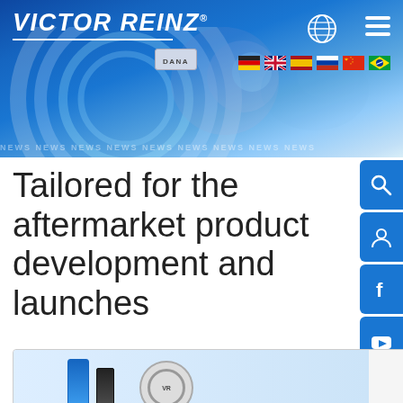VICTOR REINZ
[Figure (screenshot): Victor Reinz website header with globe icon, hamburger menu, flag row (German, British, Spanish, Russian, Chinese, Brazilian), and a hero banner with blue radial/world map graphic]
Tailored for the aftermarket product development and launches
[Figure (photo): Product image showing Victor Reinz aftermarket product cans/spray bottles and a circular Victor Reinz branded seal/badge, bottom of page, partially visible]